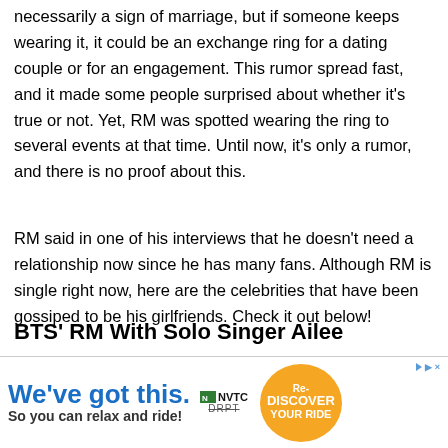necessarily a sign of marriage, but if someone keeps wearing it, it could be an exchange ring for a dating couple or for an engagement. This rumor spread fast, and it made some people surprised about whether it's true or not. Yet, RM was spotted wearing the ring to several events at that time. Until now, it's only a rumor, and there is no proof about this.
RM said in one of his interviews that he doesn't need a relationship now since he has many fans. Although RM is single right now, here are the celebrities that have been gossiped to be his girlfriends. Check it out below!
BTS' RM With Solo Singer Ailee
[Figure (screenshot): Video thumbnail showing a dark scene with green lighting, with a chevron/expand icon on the left side]
[Figure (infographic): Advertisement banner: 'We've got this. So you can relax and ride!' with NVTC and DRPT logos and Re-Discover Your Ride circular badge in orange]